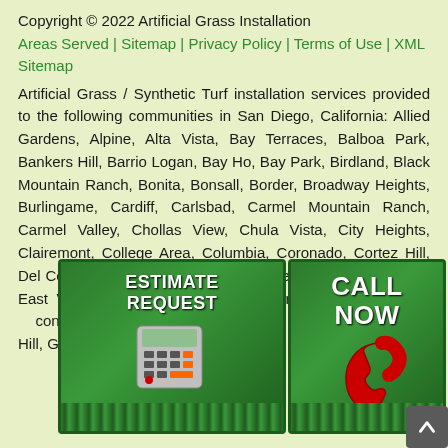Copyright © 2022 Artificial Grass Installation
Areas Served | Sitemap | Privacy Policy | Terms of Use | XML Sitemap
Artificial Grass / Synthetic Turf installation services provided to the following communities in San Diego, California: Allied Gardens, Alpine, Alta Vista, Bay Terraces, Balboa Park, Bankers Hill, Barrio Logan, Bay Ho, Bay Park, Birdland, Black Mountain Ranch, Bonita, Bonsall, Border, Broadway Heights, Burlingame, Cardiff, Carlsbad, Carmel Mountain Ranch, Carmel Valley, Chollas View, Chula Vista, City Heights, Clairemont, College Area, Columbia, Coronado, Cortez Hill, Del Cerro, Del Mar Heights, Del Mar Mesa, D... ott, East Village, d Cerrito, Emeral o condido, Fallbro u Golden Hill, Grant Hill, Grantville, Harbor Island
[Figure (infographic): Green estimate request button with calculator icon and green call now button with red phone icon]
[Figure (other): Gray scroll-to-top button with upward arrow]